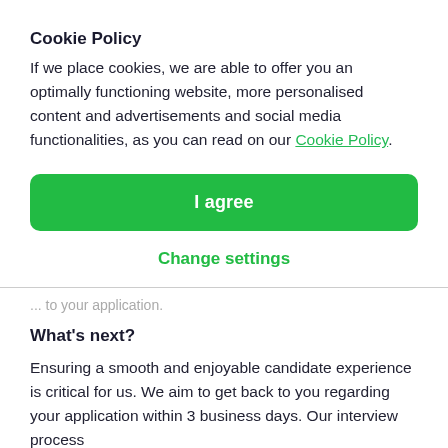Cookie Policy
If we place cookies, we are able to offer you an optimally functioning website, more personalised content and advertisements and social media functionalities, as you can read on our Cookie Policy.
I agree
Change settings
... to your application.
What's next?
Ensuring a smooth and enjoyable candidate experience is critical for us. We aim to get back to you regarding your application within 3 business days. Our interview process